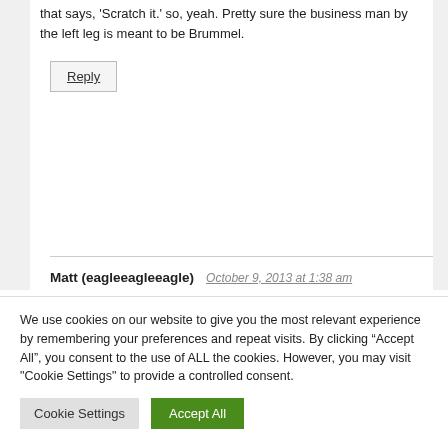that says, 'Scratch it.' so, yeah. Pretty sure the business man by the left leg is meant to be Brummel.
Reply
Matt (eagleeagleeagle)   October 9, 2013 at 1:38 am
Genius. Did you notice that the “Insure everything” booth next to the “Just buy it” sign resembles the WSMFY cover? It almost looks like Jeremy.
We use cookies on our website to give you the most relevant experience by remembering your preferences and repeat visits. By clicking “Accept All”, you consent to the use of ALL the cookies. However, you may visit "Cookie Settings" to provide a controlled consent.
Cookie Settings
Accept All